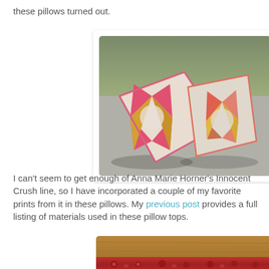these pillows turned out.
[Figure (photo): Two decorative quilted pillows with star/pinwheel patterns in pink, red, orange, and gold colors with floral prints, placed on concrete with grass in background]
I can't seem to get enough of Anna Marie Horner's Innocent Crush line, so I have incorporated a couple of my favorite prints from it in these pillows. My previous post provides a full listing of materials used in these pillow tops.
[Figure (photo): Close-up of a red floral fabric strip, likely the pillow backing or border material, on a wooden surface]